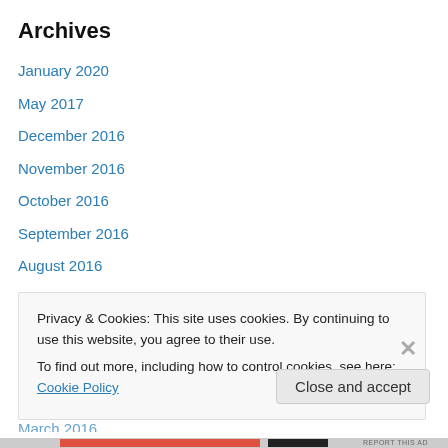Archives
January 2020
May 2017
December 2016
November 2016
October 2016
September 2016
August 2016
July 2016
June 2016
May 2016
April 2016
Privacy & Cookies: This site uses cookies. By continuing to use this website, you agree to their use.
To find out more, including how to control cookies, see here: Cookie Policy
Close and accept